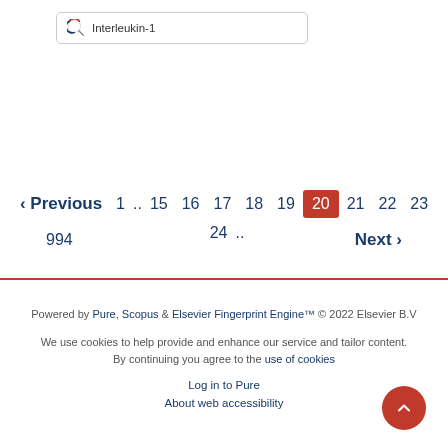[Figure (other): Search box with Elsevier logo icon and text 'Interleukin-1']
‹ Previous  1 .. 15  16  17  18  19  20  21  22  23  24 ..  994  Next ›
Powered by Pure, Scopus & Elsevier Fingerprint Engine™ © 2022 Elsevier B.V

We use cookies to help provide and enhance our service and tailor content. By continuing you agree to the use of cookies

Log in to Pure

About web accessibility